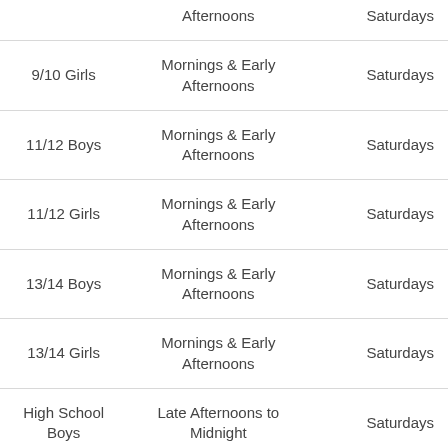| Division | Time Slot | Day |
| --- | --- | --- |
|  | Afternoons |  |
| 9/10 Girls | Mornings & Early Afternoons | Saturdays |
| 11/12 Boys | Mornings & Early Afternoons | Saturdays |
| 11/12 Girls | Mornings & Early Afternoons | Saturdays |
| 13/14 Boys | Mornings & Early Afternoons | Saturdays |
| 13/14 Girls | Mornings & Early Afternoons | Saturdays |
| High School Boys | Late Afternoons to Midnight | Saturdays |
| High School | Late Afternoon to | Saturdays |